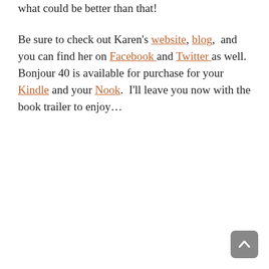what could be better than that!
Be sure to check out Karen's website, blog, and you can find her on Facebook and Twitter as well. Bonjour 40 is available for purchase for your Kindle and your Nook. I'll leave you now with the book trailer to enjoy…